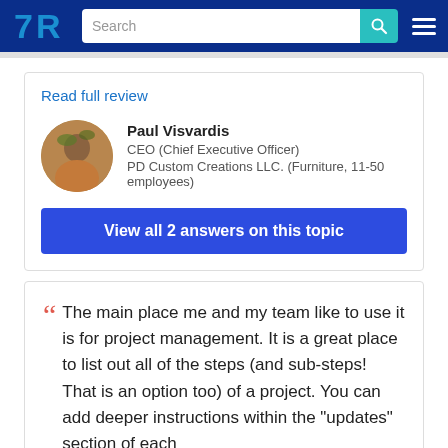TrustRadius — Search
Read full review
Paul Visvardis
CEO (Chief Executive Officer)
PD Custom Creations LLC. (Furniture, 11-50 employees)
View all 2 answers on this topic
The main place me and my team like to use it is for project management. It is a great place to list out all of the steps (and sub-steps! That is an option too) of a project. You can add deeper instructions within the "updates" section of each